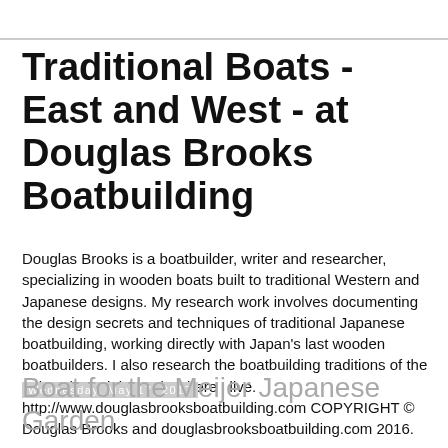Traditional Boats - East and West - at Douglas Brooks Boatbuilding
Douglas Brooks is a boatbuilder, writer and researcher, specializing in wooden boats built to traditional Western and Japanese designs. My research work involves documenting the design secrets and techniques of traditional Japanese boatbuilding, working directly with Japan's last wooden boatbuilders. I also research the boatbuilding traditions of the Lake Champlain Basin where I live. http://www.douglasbrooksboatbuilding.com COPYRIGHT © Douglas Brooks and douglasbrooksboatbuilding.com 2016.
Wednesday, May 17, 2017
Boat for the Meijer Japanese Garden